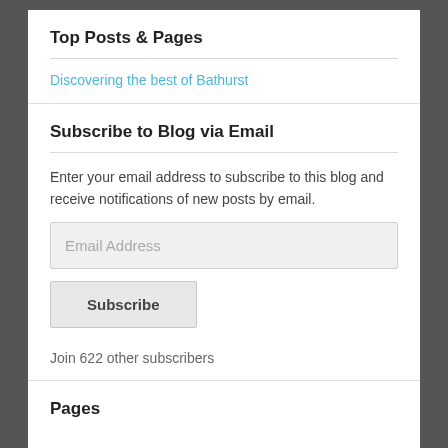Top Posts & Pages
Discovering the best of Bathurst
Subscribe to Blog via Email
Enter your email address to subscribe to this blog and receive notifications of new posts by email.
Email Address
Subscribe
Join 622 other subscribers
Pages